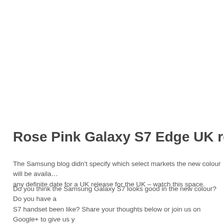Rose Pink Galaxy S7 Edge UK release
The Samsung blog didn't specify which select markets the new colour will be available in, nor did they give any definite date for a UK release for the UK – watch this space.
Do you think the Samsung Galaxy S7 looks good in the new colour? Do you have a S7 handset been like? Share your thoughts below or join us on Google+ to give us y Comments are closed.